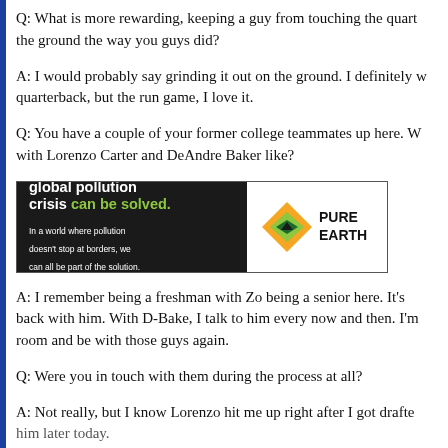Q: What is more rewarding, keeping a guy from touching the quarterback, or grinding it on the ground the way you guys did?
A: I would probably say grinding it out on the ground. I definitely want to sack the quarterback, but the run game, I love it.
Q: You have a couple of your former college teammates up here. What has it been like reuniting with Lorenzo Carter and DeAndre Baker like?
[Figure (infographic): Pure Earth advertisement banner: 'We believe the global pollution crisis can be solved. In a world where pollution doesn't stop at borders, we can all be part of the solution. JOIN US.' with Pure Earth logo.]
A: I remember being a freshman with Zo being a senior here. It's great being back with him. With D-Bake, I talk to him every now and then. I'm just excited to be in the room and be with those guys again.
Q: Were you in touch with them during the process at all?
A: Not really, but I know Lorenzo hit me up right after I got drafted. I'll talk to him later today.